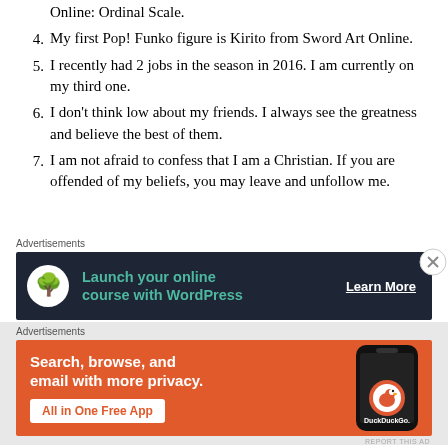Online: Ordinal Scale.
4. My first Pop! Funko figure is Kirito from Sword Art Online.
5. I recently had 2 jobs in the season in 2016. I am currently on my third one.
6. I don’t think low about my friends. I always see the greatness and believe the best of them.
7. I am not afraid to confess that I am a Christian. If you are offended of my beliefs, you may leave and unfollow me.
[Figure (other): Dark-themed advertisement: Launch your online course with WordPress, Learn More button. Logo shows a tree/bonsai icon.]
[Figure (other): Orange-themed DuckDuckGo advertisement: Search, browse, and email with more privacy. All in One Free App. Shows a phone with DuckDuckGo logo.]